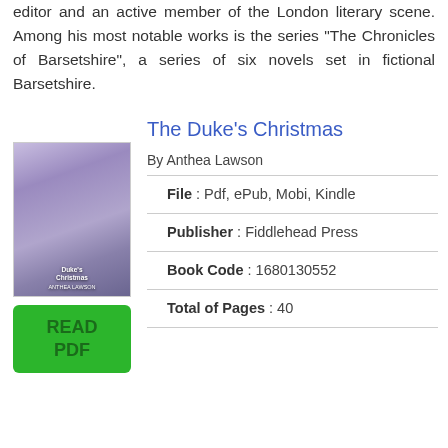editor and an active member of the London literary scene. Among his most notable works is the series "The Chronicles of Barsetshire", a series of six novels set in fictional Barsetshire.
The Duke's Christmas
By Anthea Lawson
[Figure (illustration): Book cover of 'The Duke's Christmas' by Anthea Lawson, showing a couple in period dress]
[Figure (other): Green READ PDF button]
File : Pdf, ePub, Mobi, Kindle
Publisher : Fiddlehead Press
Book Code : 1680130552
Total of Pages : 40